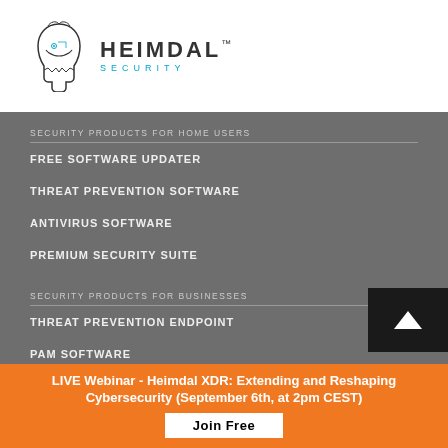[Figure (logo): Heimdal Security logo with helmet icon and wordmark]
SECURITY PRODUCTS FOR HOME USERS
FREE SOFTWARE UPDATER
THREAT PREVENTION SOFTWARE
ANTIVIRUS SOFTWARE
PREMIUM SECURITY SUITE
SECURITY PRODUCTS FOR BUSINESSES
THREAT PREVENTION ENDPOINT
PAM SOFTWARE
APPLICATION CONTROL
LIVE Webinar - Heimdal XDR: Extending and Reshaping Cybersecurity (September 6th, at 2pm CEST)
Join Free